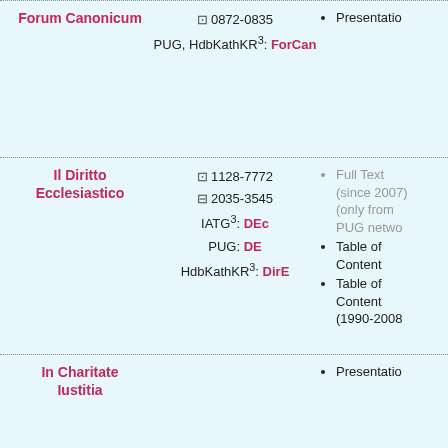| Journal | IDs/Codes | Links |
| --- | --- | --- |
| Forum Canonicum | 🖨 0872-0835
PUG, HdbKathKR³: ForCan | Presentation |
| Il Diritto Ecclesiastico | 🖨 1128-7772
🖥 2035-3545
IATG³: DEc
PUG: DE
HdbKathKR³: DirE | Full Text (since 2007) (only from PUG network)
Table of Content
Table of Content (1990-2008) |
| In Charitate Iustitia |  | Presentation |